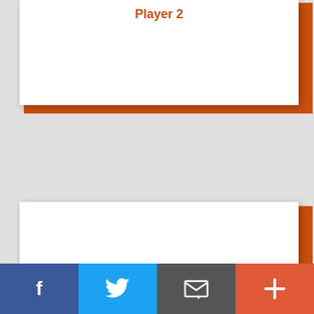Player 2
ANTHONY THEQUARIS
[Figure (infographic): Social share bar with Facebook, Twitter, Email, and Plus buttons at the bottom of the page]